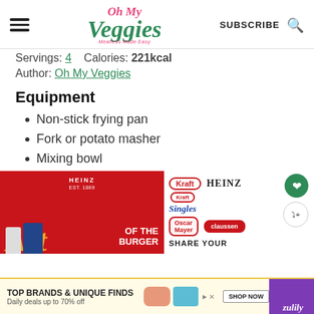Oh My Veggies — SUBSCRIBE
Servings: 4    Calories: 221kcal
Author: Oh My Veggies
Equipment
Non-stick frying pan
Fork or potato masher
Mixing bowl
[Figure (advertisement): Heinz Art of the Burger advertisement with Kraft, Heinz, Kraft Singles, Oscar Mayer, Claussen brand logos]
[Figure (advertisement): Bottom banner ad: TOP BRANDS & UNIQUE FINDS Daily deals up to 70% off, Shop Now, zulily]